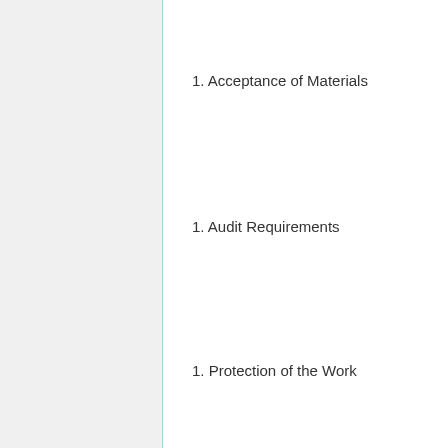1. Acceptance of Materials
1. Audit Requirements
1. Protection of the Work
Section Checklist